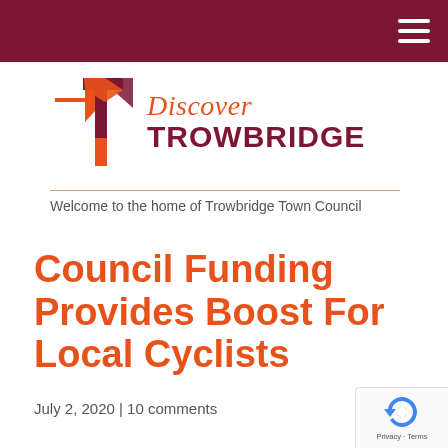[Figure (logo): Discover Trowbridge logo with orange and dark red T-shaped arrow icon and text 'Discover TROWBRIDGE']
Welcome to the home of Trowbridge Town Council
Council Funding Provides Boost For Local Cyclists
July 2, 2020 | 10 comments